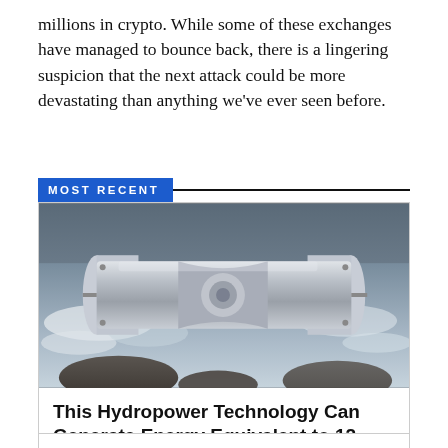millions in crypto. While some of these exchanges have managed to bounce back, there is a lingering suspicion that the next attack could be more devastating than anything we've ever seen before.
MOST RECENT
[Figure (photo): A cylindrical metal hydropower turbine device placed in a rocky river with flowing white water. The device is silver/metallic, horizontal, with flanged ends and a central narrowed section.]
This Hydropower Technology Can Generate Energy Equivalent to 12 Solar Panels
WILLOW M. · QUANTUM ENERGY